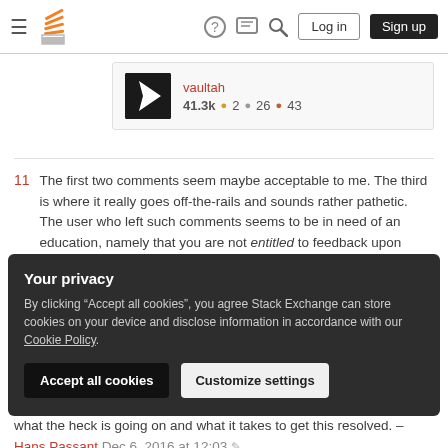≡ [Stack Overflow logo] ? [chat] [search] Log in Sign up
[Figure (screenshot): Stack Overflow user card for 'vaultah' with avatar, 41.3k reputation, 2 gold, 26 silver, 43 bronze badges]
11 The first two comments seem maybe acceptable to me. The third is where it really goes off-the-rails and sounds rather pathetic. The user who left such comments seems to be in need of an education, namely that you are not entitled to feedback upon posting an answer (and/or that an upvote or downvote is sufficient feedback). – Cody Gray ♦ Mod Dec 6, 2016 at 9:03 ✎
Your privacy
By clicking "Accept all cookies", you agree Stack Exchange can store cookies on your device and disclose information in accordance with our Cookie Policy.
[Accept all cookies] [Customize settings]
what the heck is going on and what it takes to get this resolved. – Hans Passant Dec 6, 2016 at 12:03 ✎